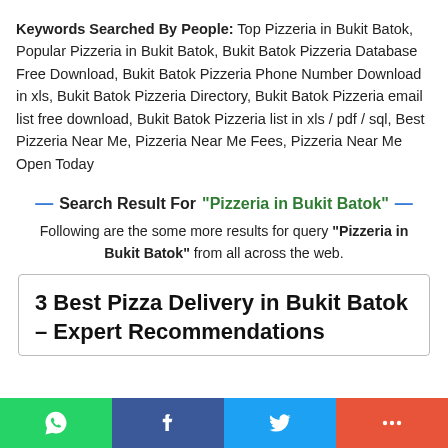Keywords Searched By People: Top Pizzeria in Bukit Batok, Popular Pizzeria in Bukit Batok, Bukit Batok Pizzeria Database Free Download, Bukit Batok Pizzeria Phone Number Download in xls, Bukit Batok Pizzeria Directory, Bukit Batok Pizzeria email list free download, Bukit Batok Pizzeria list in xls / pdf / sql, Best Pizzeria Near Me, Pizzeria Near Me Fees, Pizzeria Near Me Open Today
— Search Result For "Pizzeria in Bukit Batok" —
Following are the some more results for query "Pizzeria in Bukit Batok" from all across the web.
3 Best Pizza Delivery in Bukit Batok – Expert Recommendations